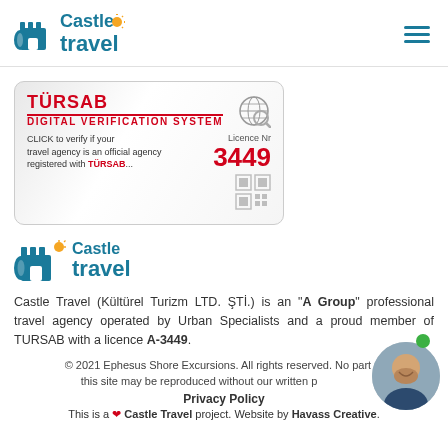[Figure (logo): Castle Travel logo with castle icon and orange sun accent, teal colored text]
[Figure (logo): Hamburger menu icon (three horizontal teal bars)]
[Figure (other): TURSAB Digital Verification System badge/card. Red text TURSAB header, Digital Verification System subtitle, CLICK to verify if your travel agency is an official agency registered with TURSAB... text, Licence Nr 3449, globe icon, QR code placeholder]
[Figure (logo): Castle Travel logo large version with castle icon and orange sun, teal text]
Castle Travel (Kültürel Turizm LTD. ŞTİ.) is an "A Group" professional travel agency operated by Urban Specialists and a proud member of TURSAB with a licence A-3449.
© 2021 Ephesus Shore Excursions. All rights reserved. No part of this site may be reproduced without our written permission.
Privacy Policy
This is a ♡ Castle Travel project. Website by Havass Creative.